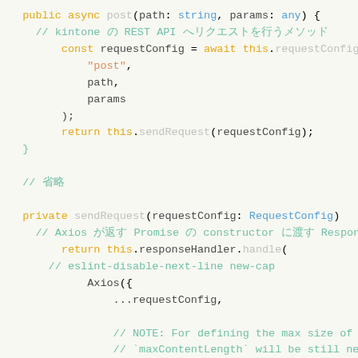[Figure (screenshot): Source code snippet in TypeScript/JavaScript showing async post method, sendRequest private method, with Axios HTTP client usage. Comments in Japanese and English. Syntax highlighted code on light background.]